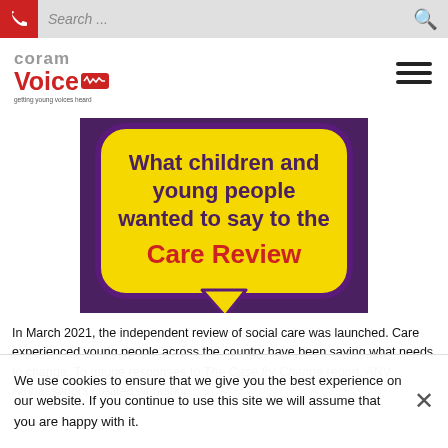Search ...
[Figure (logo): Coram Voice logo - getting young voices heard]
[Figure (illustration): Yellow speech bubble on purple/dark background with text: What children and young people wanted to say to the Care Review]
In March 2021, the independent review of social care was launched. Care experienced young people across the country have been saying what needs to change. To gauge responses to The Case for Change report, ANV Ambassadors created workshop
We use cookies to ensure that we give you the best experience on our website. If you continue to use this site we will assume that you are happy with it.